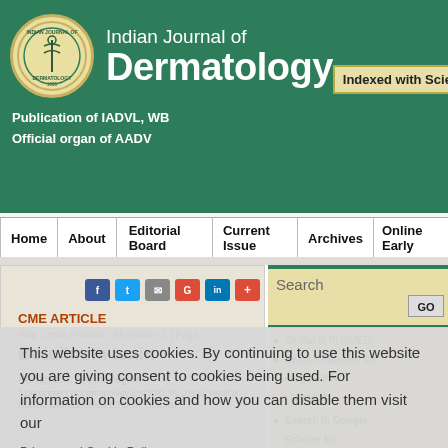Indian Journal of Dermatology — Publication of IADVL, WB | Official organ of AADV | Indexed with Science
Home | About | Editorial Board | Current Issue | Archives | Online Early
CME ARTICLE
Year : 2016 | Volume : 55 | Issue : 1 | Page :
Botulinum toxin
PK Nigam¹, Anjana Nigam²
¹ Department of Dermatology and STD, Pt. J.N.M. Medical College and Associated B.R.A.M. Hospital,
This website uses cookies. By continuing to use this website you are giving consent to cookies being used. For information on cookies and how you can disable them visit our
Privacy and Cookie Policy.
AGREE & PROCEED
Search
GO
Similar in PUBMED
Search Pubmed for
Nigam P K
Nigam A
Search in Google Scholar for